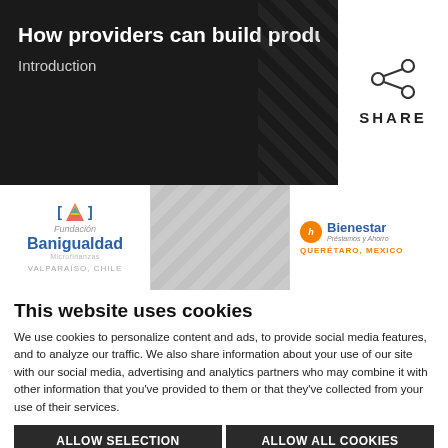How providers can build products that i
Introduction
[Figure (logo): Share icon with SHARE label]
[Figure (logo): Banigualdad logo - VALPARAISO, CHILE]
[Figure (logo): Middle blurred image cell]
[Figure (logo): Bienestar Préstamos y Ahorro logo - QUERÉTARO, MEXICO]
This website uses cookies
We use cookies to personalize content and ads, to provide social media features, and to analyze our traffic. We also share information about your use of our site with our social media, advertising and analytics partners who may combine it with other information that you've provided to them or that they've collected from your use of their services.
ALLOW SELECTION
ALLOW ALL COOKIES
Necessary  Preferences  Statistics  Marketing  Show details